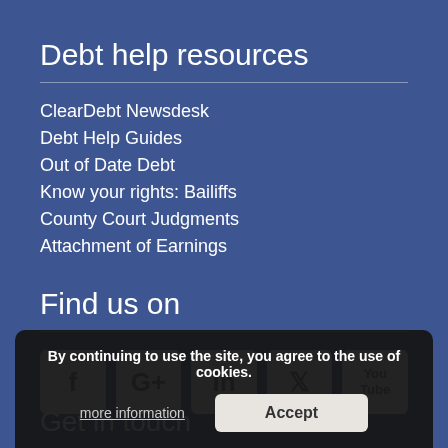Debt help resources
ClearDebt Newsdesk
Debt Help Guides
Out of Date Debt
Know your rights: Bailiffs
County Court Judgments
Attachment of Earnings
Find us on
[Figure (other): Social media icons: Facebook, Google+, LinkedIn, Twitter, YouTube]
Get in touch
By continuing to use the site, you agree to the use of cookies.
more information
Accept